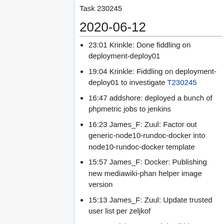Task 230245
2020-06-12
23:01 Krinkle: Done fiddling on deployment-deploy01
19:04 Krinkle: Fiddling on deployment-deploy01 to investigate T230245
16:47 addshore: deployed a bunch of phpmetric jobs to jenkins
16:23 James_F: Zuul: Factor out generic-node10-rundoc-docker into node10-rundoc-docker template
15:57 James_F: Docker: Publishing new mediawiki-phan helper image version
15:13 James_F: Zuul: Update trusted user list per zeljkof
08:15 awight: Granted dewiki-beta